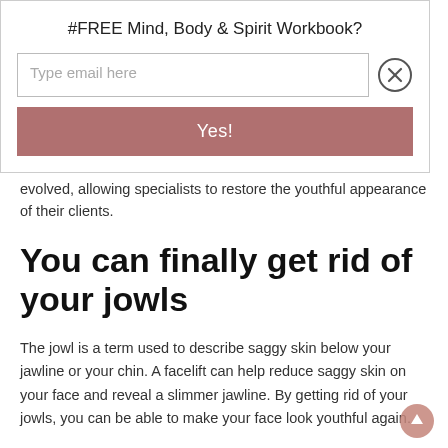#FREE Mind, Body & Spirit Workbook?
[Figure (screenshot): Email signup form with text input 'Type email here', a close (X) button, and a pink/rose 'Yes!' submit button]
evolved, allowing specialists to restore the youthful appearance of their clients.
You can finally get rid of your jowls
The jowl is a term used to describe saggy skin below your jawline or your chin. A facelift can help reduce saggy skin on your face and reveal a slimmer jawline. By getting rid of your jowls, you can be able to make your face look youthful again.